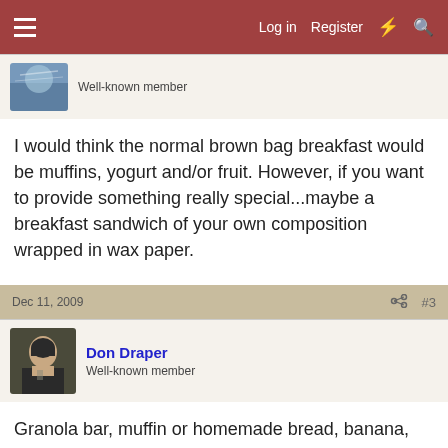Log in  Register
Well-known member
I would think the normal brown bag breakfast would be muffins, yogurt and/or fruit. However, if you want to provide something really special...maybe a breakfast sandwich of your own composition wrapped in wax paper.
Dec 11, 2009  #3
Don Draper
Well-known member
Granola bar, muffin or homemade bread, banana, orange, hard boiled egg. To go cups for coffee/tea.
Dec 11, 2009  #4
gillumhouse